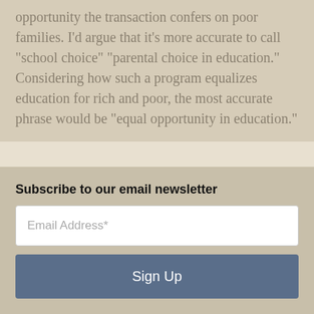opportunity the transaction confers on poor families. I'd argue that it's more accurate to call "school choice" "parental choice in education." Considering how such a program equalizes education for rich and poor, the most accurate phrase would be "equal opportunity in education."
What Democratic strategists can learn from Luntz is to pay closer attention to crafting the language of political discourse, a pivotal factor in GOP victories of recent years. If we keep our language clear and straight, the GOP will be regarded as the party of equivocation.
Subscribe to our email newsletter